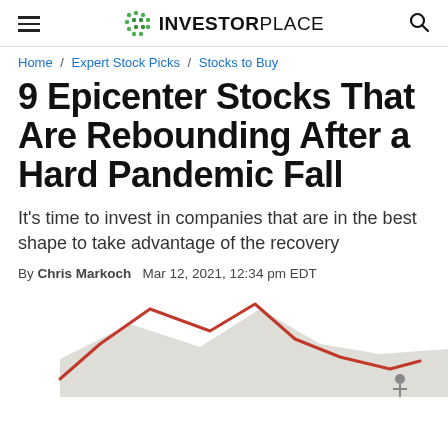INVESTORPLACE
Home / Expert Stock Picks / Stocks to Buy
9 Epicenter Stocks That Are Rebounding After a Hard Pandemic Fall
It's time to invest in companies that are in the best shape to take advantage of the recovery
By Chris Markoch   Mar 12, 2021, 12:34 pm EDT
[Figure (continuous-plot): Partial stock market line chart showing a red line with a peak and decline, with a gray shaded area below and a small figure/person icon at the bottom right]